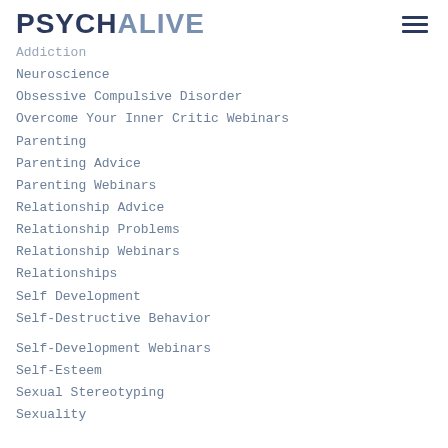PSYCHALIVE
Neuroscience
Obsessive Compulsive Disorder
Overcome Your Inner Critic Webinars
Parenting
Parenting Advice
Parenting Webinars
Relationship Advice
Relationship Problems
Relationship Webinars
Relationships
Self Development
Self-Destructive Behavior
Self-Development Webinars
Self-Esteem
Sexual Stereotyping
Sexuality